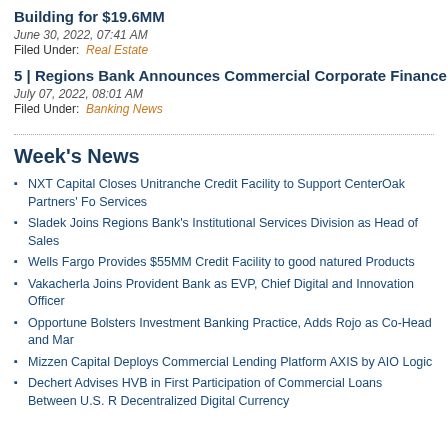Building for $19.6MM
June 30, 2022, 07:41 AM
Filed Under: Real Estate
5 | Regions Bank Announces Commercial Corporate Finance Team
July 07, 2022, 08:01 AM
Filed Under: Banking News
Week's News
NXT Capital Closes Unitranche Credit Facility to Support CenterOak Partners' Fo Services
Sladek Joins Regions Bank's Institutional Services Division as Head of Sales
Wells Fargo Provides $55MM Credit Facility to good natured Products
Vakacherla Joins Provident Bank as EVP, Chief Digital and Innovation Officer
Opportune Bolsters Investment Banking Practice, Adds Rojo as Co-Head and Mar
Mizzen Capital Deploys Commercial Lending Platform AXIS by AIO Logic
Dechert Advises HVB in First Participation of Commercial Loans Between U.S. R Decentralized Digital Currency